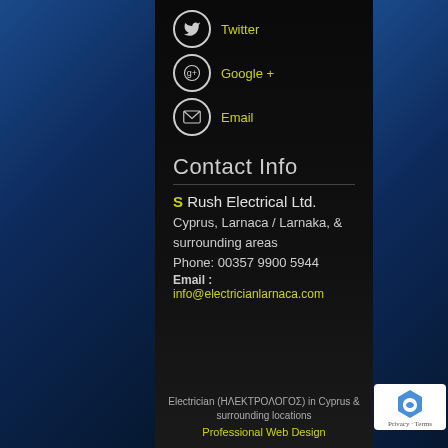Twitter
Google +
Email
Contact Info
S Rush Electrical Ltd.
Cyprus, Larnaca / Larnaka, & surrounding areas
Phone: 00357 9900 5944
Email : info@electricianlarnaca.com
Electrician (ΗΛΕΚΤΡΟΛΟΓΟΣ) in Cyprus & surrounding locations
Professional Web Design